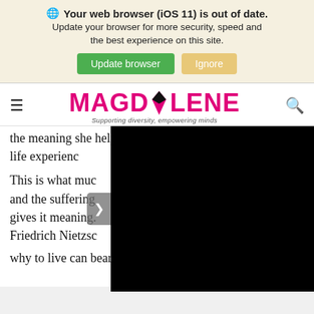Your web browser (iOS 11) is out of date. Update your browser for more security, speed and the best experience on this site. Update browser | Ignore
MAGDALENE — Supporting diversity, empowering minds
the meaning she helps us make. Adele takes hard life experienc...
[Figure (screenshot): Black video player overlay with a grey arrow/nav button on the left side]
This is what muc... and the suffering... gives it meaning. Friedrich Nietzsc... why to live can bear almost any how.